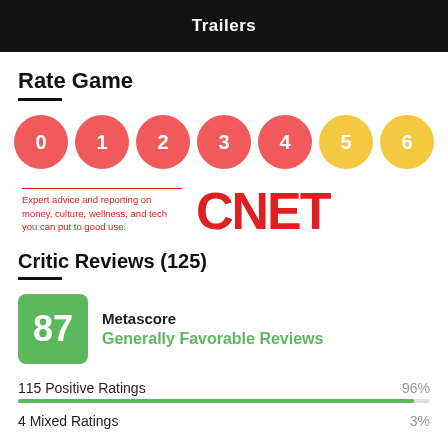Trailers
Rate Game
[Figure (infographic): Row of numbered rating circles 0-6, colors: 0-4 red, 5-6 yellow]
[Figure (logo): CNET logo with tagline: Expert advice and reporting on money, culture, wellness, and tech you can put to good use.]
Critic Reviews (125)
[Figure (infographic): Green Metascore box showing 87, labeled Metascore, verdict: Generally Favorable Reviews]
115 Positive Ratings  96%
4 Mixed Ratings  3%